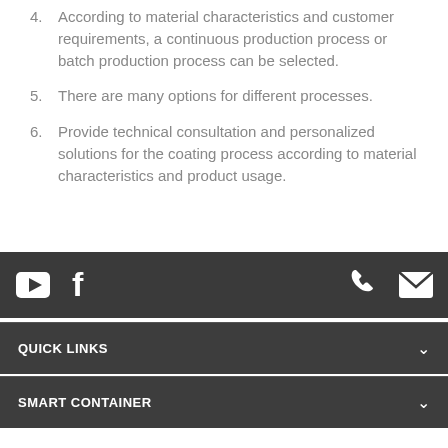4. According to material characteristics and customer requirements, a continuous production process or batch production process can be selected.
5. There are many options for different processes.
6. Provide technical consultation and personalized solutions for the coating process according to material characteristics and product usage.
Social media icons (YouTube, Facebook, Phone, Email) | QUICK LINKS | SMART CONTAINER